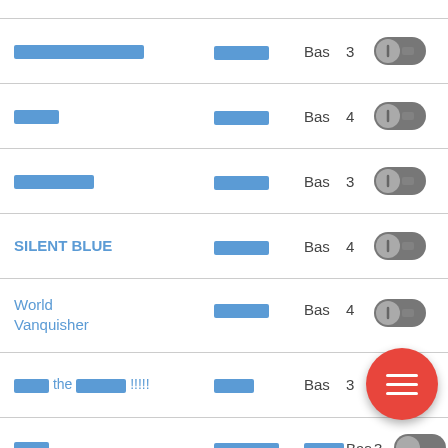[redacted title] [redacted] Bas 3
[redacted title] [redacted] Bas 4
[redacted title] [redacted] Bas 3
SILENT BLUE [redacted] Bas 4
World Vanquisher [redacted] Bas 4
[redacted] the [redacted]!!!!! [redacted] Bas 3
[redacted] [redacted] [redacted] Bas 3